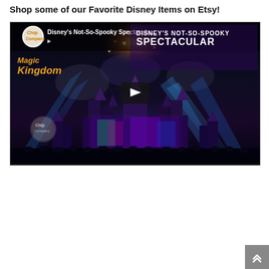Shop some of our Favorite Disney Items on Etsy!
[Figure (screenshot): YouTube video thumbnail for 'Disney's Not-So-Spooky Spectacula...' showing a nighttime fireworks and light show at Magic Kingdom castle with colorful projections. Features Chip and Company logo, play button overlay, and title text overlaid.]